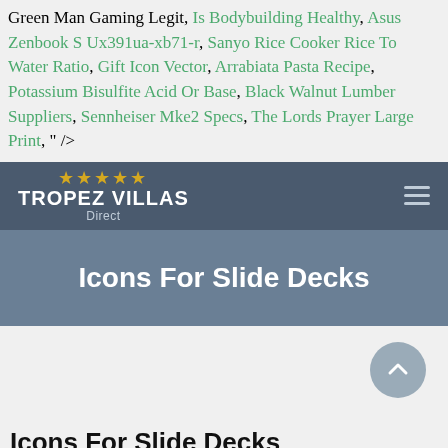Green Man Gaming Legit, Is Bodybuilding Healthy, Asus Zenbook S Ux391ua-xb71-r, Sanyo Rice Cooker Rice To Water Ratio, Gift Icon Vector, Arrabiata Pasta Recipe, Potassium Bisulfite Acid Or Base, Black Walnut Lumber Suppliers, Sennheiser Mke2 Specs, The Lords Prayer Large Print, " />
[Figure (screenshot): Tropez Villas Direct website navigation bar with star rating logo and hamburger menu]
[Figure (screenshot): Hero banner with text 'Icons For Slide Decks' on blue-grey background]
Icons For Slide Decks